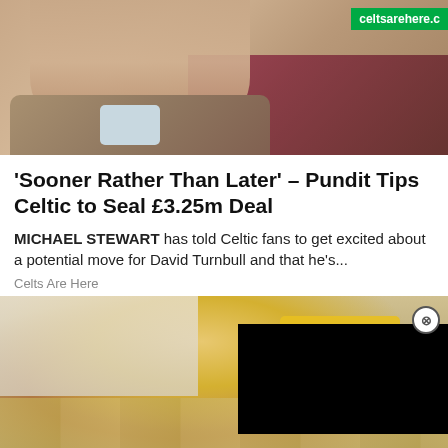[Figure (photo): Photo of a man (pundit Michael Stewart) in a jacket, with a green 'celtsarehere.c' badge in the top right corner]
‘Sooner Rather Than Later’ – Pundit Tips Celtic to Seal £3.25m Deal
MICHAEL STEWART has told Celtic fans to get excited about a potential move for David Turnbull and that he’s...
Celts Are Here
[Figure (photo): Photo of a woman in a yellow uniform cleaning a floor, with a black video player overlay in the bottom right and a close (X) button]